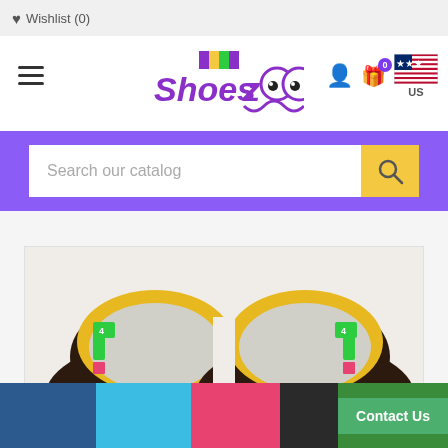♥ Wishlist (0)
[Figure (logo): ShoesZoo logo with colorful cartoon eyes and purple/yellow font]
[Figure (screenshot): US flag icon with 'US' label below]
Search our catalog
[Figure (photo): Close-up top view of two brown leather baby shoes/slippers with yellow fuzzy lining, viewed from top opening]
Contact Us